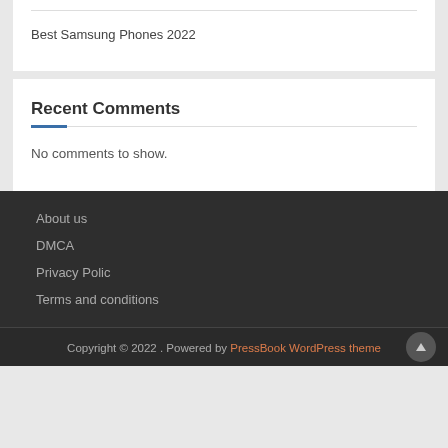Best Samsung Phones 2022
Recent Comments
No comments to show.
About us
DMCA
Privacy Polic
Terms and conditions
Copyright © 2022 . Powered by PressBook WordPress theme